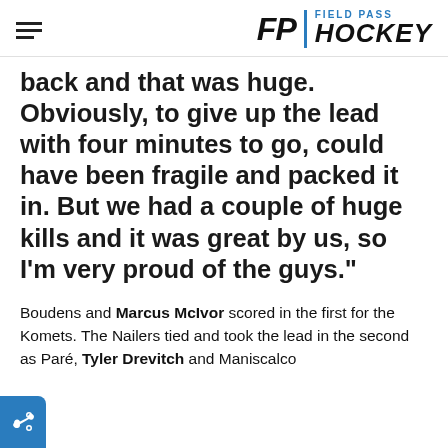FP | FIELD PASS HOCKEY
back and that was huge. Obviously, to give up the lead with four minutes to go, could have been fragile and packed it in. But we had a couple of huge kills and it was great by us, so I'm very proud of the guys."
Boudens and Marcus McIvor scored in the first for the Komets. The Nailers tied and took the lead in the second as Paré, Tyler Drevitch and Maniscalco